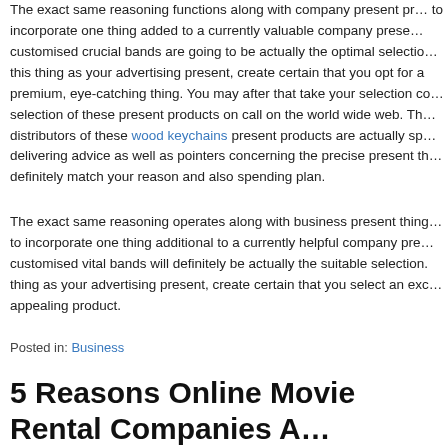The exact same reasoning functions along with company present products to incorporate one thing added to a currently valuable company present. customised crucial bands are going to be actually the optimal selection. this thing as your advertising present, create certain that you opt for a premium, eye-catching thing. You may after that take your selection concerning selection of these present products on call on the world wide web. The distributors of these wood keychains present products are actually specialising delivering advice as well as pointers concerning the precise present that will definitely match your reason and also spending plan.
The exact same reasoning operates along with business present things to incorporate one thing additional to a currently helpful company present. customised vital bands will definitely be actually the suitable selection. thing as your advertising present, create certain that you select an exceeding appealing product.
Posted in: Business
5 Reasons Online Movie Rental Companies A... Their Traditional St...